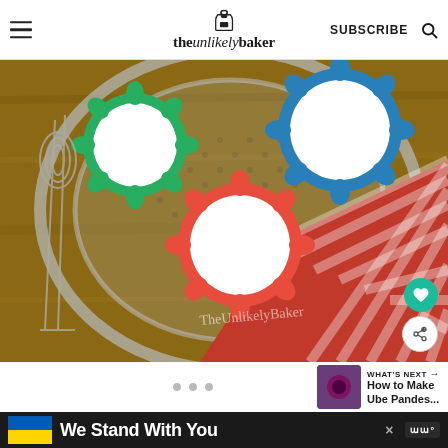theunlikelybaker — SUBSCRIBE
[Figure (photo): Top-down view of colorful silicone cupcake molds (green, blue, red) filled with white batter in a glass bowl, with a wire whisk on a wooden surface and a red gingham cloth napkin. Watermark reads TheUnlikelyBaker.]
What's Next → How to Make Ube Pandes...
We Stand With You